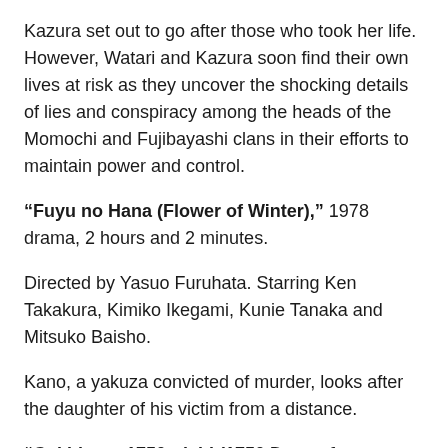Kazura set out to go after those who took her life. However, Watari and Kazura soon find their own lives at risk as they uncover the shocking details of lies and conspiracy among the heads of the Momochi and Fujibayashi clans in their efforts to maintain power and control.
"Fuyu no Hana (Flower of Winter)," 1978 drama, 2 hours and 2 minutes.
Directed by Yasuo Furuhata. Starring Ken Takakura, Kimiko Ikegami, Kunie Tanaka and Mitsuko Baisho.
Kano, a yakuza convicted of murder, looks after the daughter of his victim from a distance.
"Gekido no 1750-nichi (1750 Days of Turbulence)," 1990 drama, action film, 1 hour and 55 minutes.